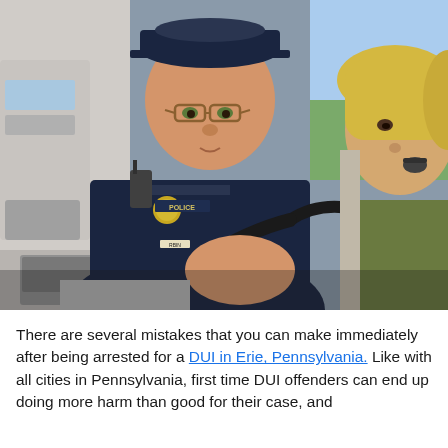[Figure (photo): A police officer in a navy blue uniform with 'POLICE' patch, wearing glasses, administering a breathalyzer test to a blonde woman in a green shirt who is blowing into a handheld device. The scene appears to be inside a vehicle or testing unit.]
There are several mistakes that you can make immediately after being arrested for a DUI in Erie, Pennsylvania. Like with all cities in Pennsylvania, first time DUI offenders can end up doing more harm than good for their case, and